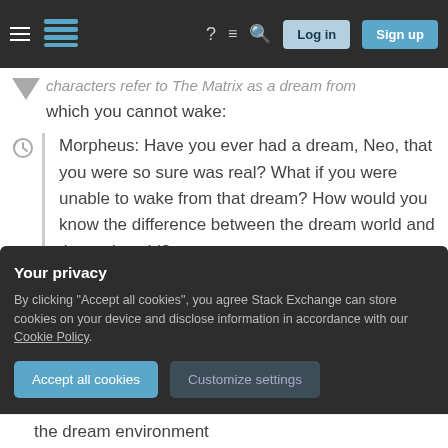Stack Exchange navigation bar with Log in and Sign up buttons
characters refer to The Matrix as a dream from which you cannot wake:
Morpheus: Have you ever had a dream, Neo, that you were so sure was real? What if you were unable to wake from that dream? How would you know the difference between the dream world and the real world?
However a lucid dream is a dream in which one is
Your privacy
By clicking "Accept all cookies", you agree Stack Exchange can store cookies on your device and disclose information in accordance with our Cookie Policy.
Accept all cookies  Customize settings
the dream environment